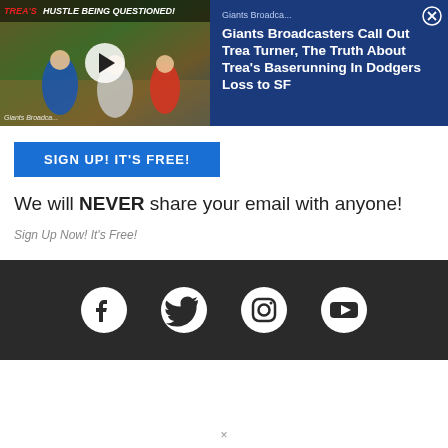[Figure (screenshot): Video thumbnail showing baseball players running on field with text overlay 'TREA'S HUSTLE BEING QUESTIONED!' and play button]
Giants Broadcasters Call Out Trea Turner, The Truth About Trea's Baserunning In Dodgers Loss to SF
SIGN UP! IT'S FREE!
We will NEVER share your email with anyone!
Sign Up Now! It's Free!
[Figure (infographic): Social media icons footer: Facebook, Twitter, Instagram, YouTube on dark background]